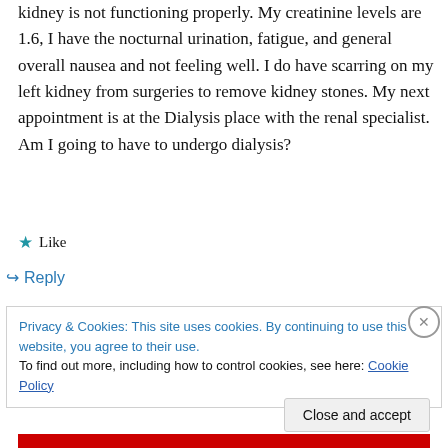kidney is not functioning properly. My creatinine levels are 1.6, I have the nocturnal urination, fatigue, and general overall nausea and not feeling well. I do have scarring on my left kidney from surgeries to remove kidney stones. My next appointment is at the Dialysis place with the renal specialist. Am I going to have to undergo dialysis?
★ Like
↪ Reply
Privacy & Cookies: This site uses cookies. By continuing to use this website, you agree to their use. To find out more, including how to control cookies, see here: Cookie Policy
Close and accept